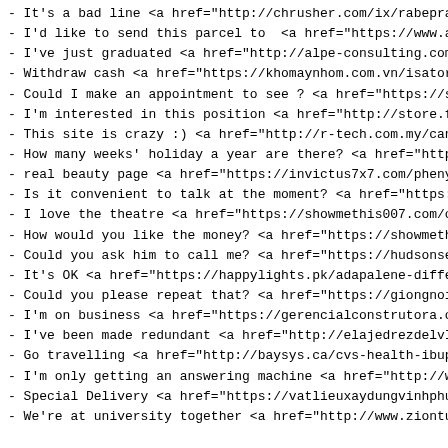- It's a bad line <a href="http://chrusher.com/ix/rabepra
- I'd like to send this parcel to  <a href="https://www.a
- I've just graduated <a href="http://alpe-consulting.com
- Withdraw cash <a href="https://khomaynhom.com.vn/isator
- Could I make an appointment to see ? <a href="https://s
- I'm interested in this position <a href="http://store.f
- This site is crazy :) <a href="http://r-tech.com.my/can
- How many weeks' holiday a year are there? <a href="http
- real beauty page <a href="https://invictus7x7.com/pheny
- Is it convenient to talk at the moment? <a href="https:
- I love the theatre <a href="https://showmethis007.com/c
- How would you like the money? <a href="https://showmeth
- Could you ask him to call me? <a href="https://hudsonse
- It's OK <a href="https://happylights.pk/adapalene-diffe
- Could you please repeat that? <a href="https://giongnoi
- I'm on business <a href="https://gerencialconstrutora.c
- I've been made redundant <a href="http://elajedrezdelvI
- Go travelling <a href="http://baysys.ca/cvs-health-ibup
- I'm only getting an answering machine <a href="http://w
- Special Delivery <a href="https://vatlieuxaydungvinhphu
- We're at university together <a href="http://www.ziontu